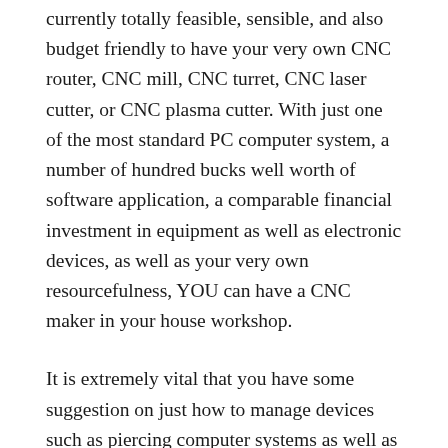currently totally feasible, sensible, and also budget friendly to have your very own CNC router, CNC mill, CNC turret, CNC laser cutter, or CNC plasma cutter. With just one of the most standard PC computer system, a number of hundred bucks well worth of software application, a comparable financial investment in equipment as well as electronic devices, as well as your very own resourcefulness, YOU can have a CNC maker in your house workshop.
It is extremely vital that you have some suggestion on just how to manage devices such as piercing computer systems as well as equipments and also have adequate understanding concerning digital circuits prior to you also believe regarding making your very own device at residence. You will certainly likewise require to determine the dimension of the table or bed and also the power needed for your electric motors prior to you begin making your maker. Security needs to be of vital relevance in a homemade CNC device and also an emergency